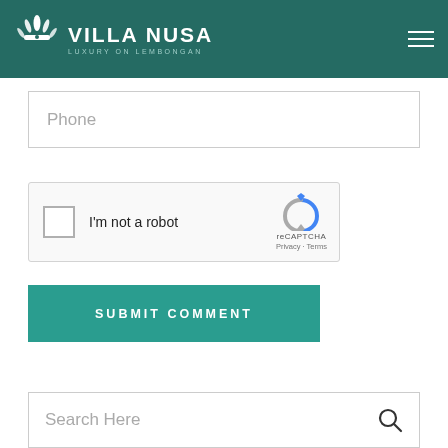Villa Nusa – Luxury on Lembongan
Phone
[Figure (other): reCAPTCHA widget with checkbox labeled 'I'm not a robot' and reCAPTCHA logo with Privacy and Terms links]
SUBMIT COMMENT
Search Here